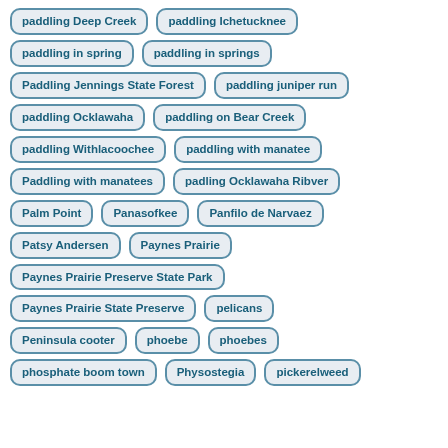paddling Deep Creek
paddling Ichetucknee
paddling in spring
paddling in springs
Paddling Jennings State Forest
paddling juniper run
paddling Ocklawaha
paddling on Bear Creek
paddling Withlacoochee
paddling with manatee
Paddling with manatees
padling Ocklawaha Ribver
Palm Point
Panasofkee
Panfilo de Narvaez
Patsy Andersen
Paynes Prairie
Paynes Prairie Preserve State Park
Paynes Prairie State Preserve
pelicans
Peninsula cooter
phoebe
phoebes
phosphate boom town
Physostegia
pickerelweed